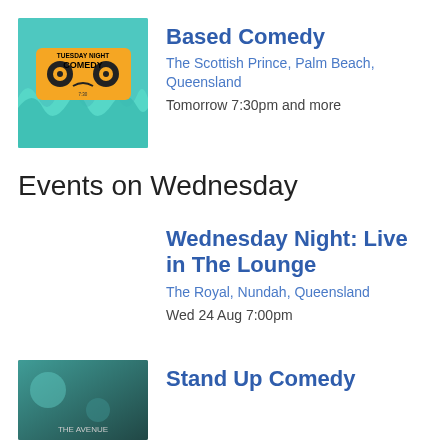[Figure (illustration): Tuesday Night Comedy event poster with teal background, orange cassette tape graphic and stylized hands]
Based Comedy
The Scottish Prince, Palm Beach, Queensland
Tomorrow 7:30pm and more
Events on Wednesday
Wednesday Night: Live in The Lounge
The Royal, Nundah, Queensland
Wed 24 Aug 7:00pm
[Figure (illustration): The Avenue event image with teal/dark tones]
Stand Up Comedy